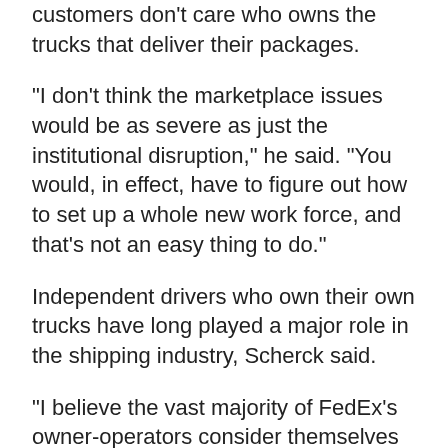customers don't care who owns the trucks that deliver their packages.
“I don’t think the marketplace issues would be as severe as just the institutional disruption,” he said. “You would, in effect, have to figure out how to set up a whole new work force, and that’s not an easy thing to do.”
Independent drivers who own their own trucks have long played a major role in the shipping industry, Scherck said.
“I believe the vast majority of FedEx’s owner-operators consider themselves just that,” he said. “They don’t consider themselves employees.”
FedEx Corp. has often been praised as a good company to work for, but it has had labor troubles before. It has faced layoffs that cut into the...